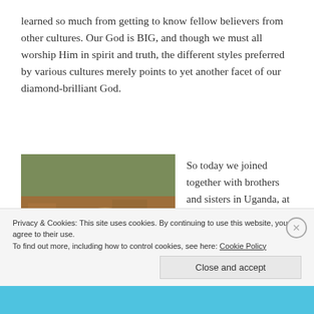learned so much from getting to know fellow believers from other cultures. Our God is BIG, and though we must all worship Him in spirit and truth, the different styles preferred by various cultures merely points to yet another facet of our diamond-brilliant God.
[Figure (photo): A smiling woman wearing a white headband and dark shirt, giving a thumbs up, standing outdoors on red dirt ground with sparse grass.]
So today we joined together with brothers and sisters in Uganda, at the 5,000-member-
Privacy & Cookies: This site uses cookies. By continuing to use this website, you agree to their use.
To find out more, including how to control cookies, see here: Cookie Policy
Close and accept